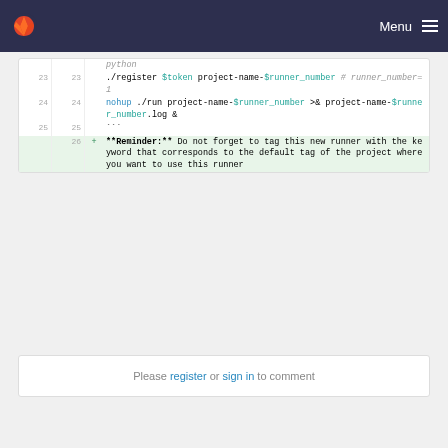Menu
23  23   ./register $token project-name-$runner_number # runner_number=1
24  24   nohup ./run project-name-$runner_number >& project-name-$runner_number.log &
25  25   ```
26       + **Reminder:** Do not forget to tag this new runner with the keyword that corresponds to the default tag of the project where you want to use this runner
Please register or sign in to comment